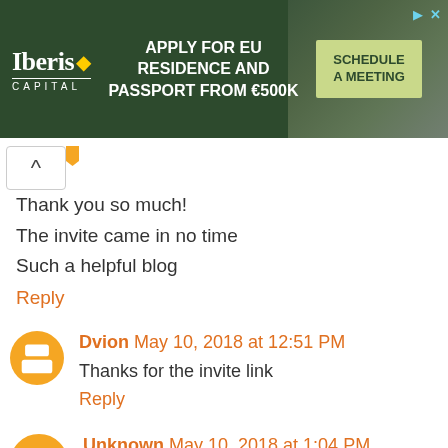[Figure (other): Iberis Capital advertisement banner: dark green background with text 'APPLY FOR EU RESIDENCE AND PASSPORT FROM €500K' and a 'SCHEDULE A MEETING' button]
Thank you so much!
The invite came in no time
Such a helpful blog
Reply
Dvion May 10, 2018 at 12:51 PM
Thanks for the invite link
Reply
Unknown May 10, 2018 at 1:04 PM